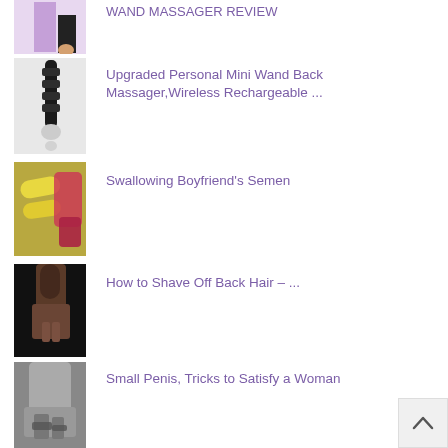[Figure (photo): Partial product image - wand massager with purple/black packaging, cropped at top]
Upgraded Personal Mini Wand Back Massager,Wireless Rechargeable ...
[Figure (photo): Black wand massager product photo]
Swallowing Boyfriend’s Semen
[Figure (photo): Photo of banana and fruit in colorful wrapping]
How to Shave Off Back Hair – ...
[Figure (photo): Black and white photo of person's back]
Small Penis, Tricks to Satisfy a Woman
[Figure (photo): Black and white photo of person in lingerie]